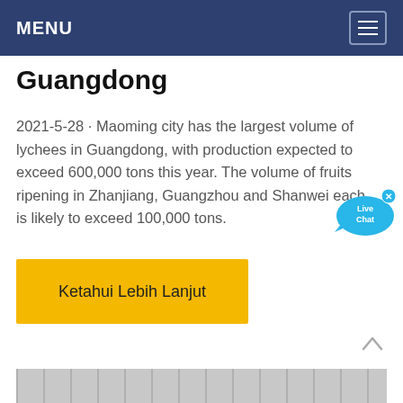MENU
Guangdong
2021-5-28 · Maoming city has the largest volume of lychees in Guangdong, with production expected to exceed 600,000 tons this year. The volume of fruits ripening in Zhanjiang, Guangzhou and Shanwei each is likely to exceed 100,000 tons.
[Figure (illustration): Live Chat speech bubble widget with blue color and 'x' close button]
Ketahui Lebih Lanjut
[Figure (photo): Bottom strip showing interior of industrial or warehouse building with steel/metal ceiling structure]